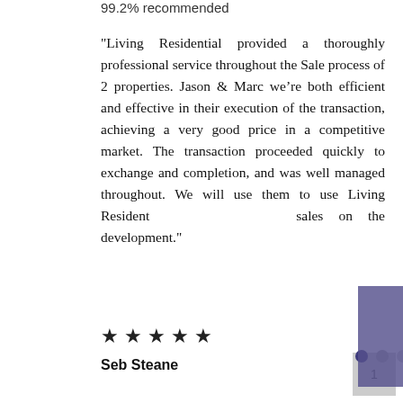99.2% recommended
"Living Residential provided a thoroughly professional service throughout the Sale process of 2 properties. Jason &amp; Marc we&rsquo;re both efficient and effective in their execution of the transaction, achieving a very good price in a competitive market. The transaction proceeded quickly to exchange and completion, and was well managed throughout. We will use them to use Living Residential to manage the sales on the development."
[Figure (other): READ ALL REVIEWS overlay button in purple/violet color]
★ ★ ★ ★ ★
Seb Steane
1